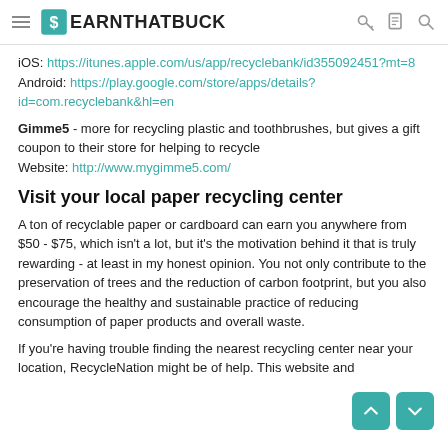EARNTHATBUCK
iOS: https://itunes.apple.com/us/app/recyclebank/id355092451?mt=8
Android: https://play.google.com/store/apps/details?id=com.recyclebank&hl=en
Gimme5 - more for recycling plastic and toothbrushes, but gives a gift coupon to their store for helping to recycle Website: http://www.mygimme5.com/
Visit your local paper recycling center
A ton of recyclable paper or cardboard can earn you anywhere from $50 - $75, which isn't a lot, but it's the motivation behind it that is truly rewarding - at least in my honest opinion. You not only contribute to the preservation of trees and the reduction of carbon footprint, but you also encourage the healthy and sustainable practice of reducing consumption of paper products and overall waste.
If you're having trouble finding the nearest recycling center near your location, RecycleNation might be of help. This website and